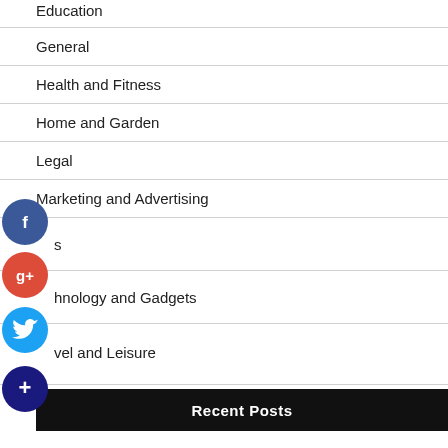Education
General
Health and Fitness
Home and Garden
Legal
Marketing and Advertising
Technology and Gadgets
Travel and Leisure
Recent Posts
Fuel Nozzle Repair Services